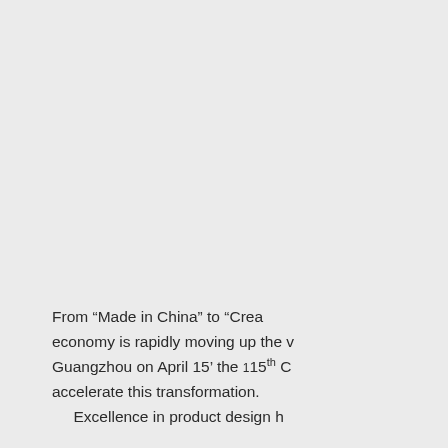From “Made in China” to “Crea... economy is rapidly moving up the v... Guangzhou on April 15’ the 115th C... accelerate this transformation. Excellence in product design h...